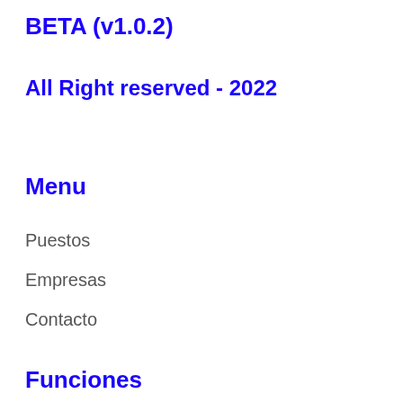BETA (v1.0.2)
All Right reserved - 2022
Menu
Puestos
Empresas
Contacto
Funciones